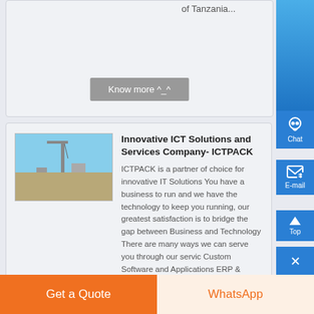of Tanzania...
Know more ^_^
[Figure (photo): Industrial/construction site photograph with crane and flat desert landscape]
Innovative ICT Solutions and Services Company- ICTPACK
ICTPACK is a partner of choice for innovative IT Solutions You have a business to run and we have the technology to keep you running, our greatest satisfaction is to bridge the gap between Business and Technology There are many ways we can serve you through our servic Custom Software and Applications ERP & Business Automation Software...
Know more ^_^
Get a Quote
WhatsApp